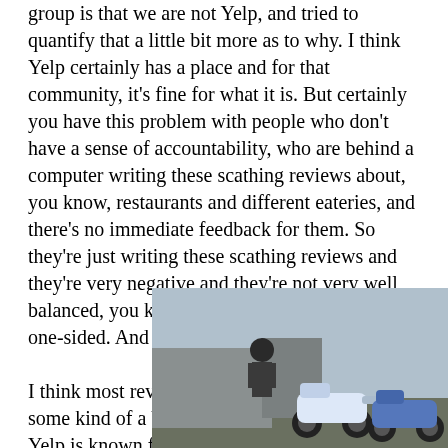group is that we are not Yelp, and tried to quantify that a little bit more as to why. I think Yelp certainly has a place and for that community, it's fine for what it is. But certainly you have this problem with people who don't have a sense of accountability, who are behind a computer writing these scathing reviews about, you know, restaurants and different eateries, and there's no immediate feedback for them. So they're just writing these scathing reviews and they're very negative and they're not very well balanced, you know? A lot of them are just very one-sided. And I think that's too harsh to do.

I think most review experiences should have some kind of a balance to them and a place like Yelp is known for negative reviews and I think it's too one-sided. Personally, and I think it potentially is too detrimental to the food scene. So that's why with a
[Figure (photo): Advertisement for Scoot Bend Electric Moped Rental. Left side shows a photo of a person standing next to electric mopeds outdoors. Right side is black background with white text: SCOOT·BEND logo with tent icon, 'Electric Moped Rental', '541-797-9017', 'info@scootbend.com', 'scootbend.com'. Gray close button in top right corner.]